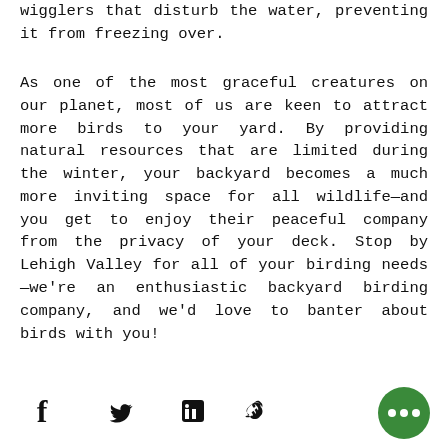wigglers that disturb the water, preventing it from freezing over.
As one of the most graceful creatures on our planet, most of us are keen to attract more birds to your yard. By providing natural resources that are limited during the winter, your backyard becomes a much more inviting space for all wildlife—and you get to enjoy their peaceful company from the privacy of your deck. Stop by Lehigh Valley for all of your birding needs—we're an enthusiastic backyard birding company, and we'd love to banter about birds with you!
[Figure (other): Social sharing icons: Facebook, Twitter, LinkedIn, link/chain icon, and a green circle button with three dots (more options)]